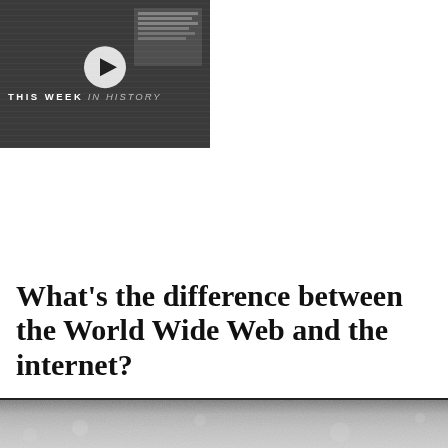[Figure (screenshot): Video thumbnail showing 'THIS WEEK IN HISTORY' text with a play button on a dark newspaper background, next to a black panel showing the title 'This Week in History (12/27 - 1/2)' with a close X button]
What's the difference between the World Wide Web and the internet?
[Figure (photo): Bottom strip showing a grainy gray textured surface, partially visible, with a dark top border]